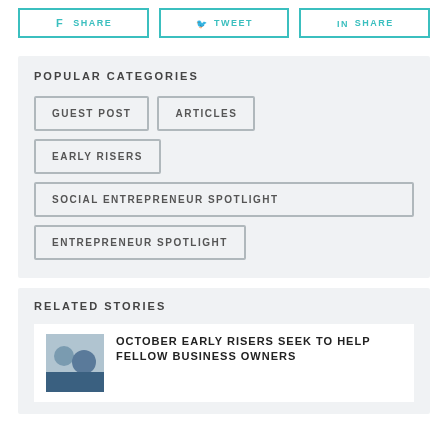[Figure (infographic): Three social share buttons: SHARE (Facebook), TWEET (Twitter), SHARE (LinkedIn) with teal borders and icons]
POPULAR CATEGORIES
GUEST POST
ARTICLES
EARLY RISERS
SOCIAL ENTREPRENEUR SPOTLIGHT
ENTREPRENEUR SPOTLIGHT
RELATED STORIES
OCTOBER EARLY RISERS SEEK TO HELP FELLOW BUSINESS OWNERS